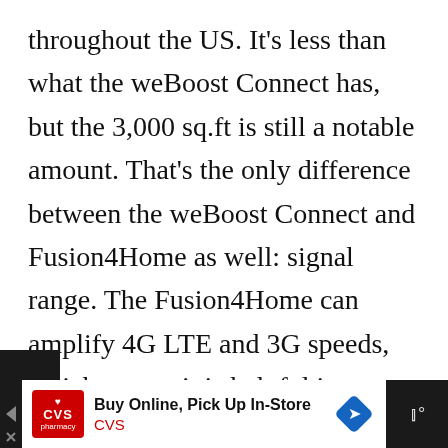throughout the US. It's less than what the weBoost Connect has, but the 3,000 sq.ft is still a notable amount. That's the only difference between the weBoost Connect and Fusion4Home as well: signal range. The Fusion4Home can amplify 4G LTE and 3G speeds, which means it is helpful in significant cities as well as rural areas that don't have excellent LTE coverage. As you might assume, you'll be able to
[Figure (screenshot): Advertisement bar at the bottom of the page: CVS Pharmacy ad with 'Buy Online, Pick Up In-Store' text, CVS logo, navigation arrow icon, and a dark panel on the right with weather/signal icon.]